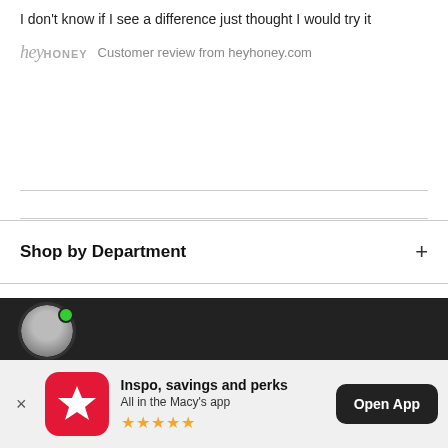I don't know if I see a difference just thought I would try it
hey HONEY  Customer review from heyhoney.com
Shop by Department
[Figure (photo): User avatar with green online indicator dot on dark background]
Customer Service
Inspo, savings and perks
All in the Macy's app
★★★★★
Open App